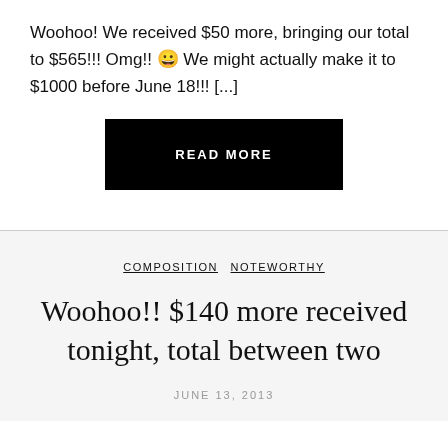Woohoo! We received $50 more, bringing our total to $565!!! Omg!! 😀 We might actually make it to $1000 before June 18!!! [...]
[Figure (other): Black rectangular button with white uppercase text reading READ MORE]
COMPOSITION  NOTEWORTHY
Woohoo!! $140 more received tonight, total between two
JUNE 13, 2013